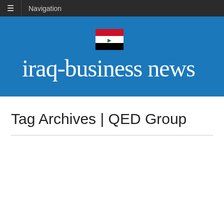≡  Navigation
[Figure (logo): Iraq Business News logo with Iraqi flag on blue background. White serif text reads 'iraq-business news' with a small Iraqi flag above the hyphen.]
Tag Archives | QED Group